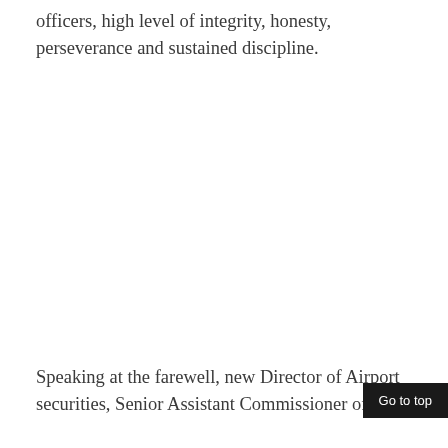officers, high level of integrity, honesty, perseverance and sustained discipline.
Speaking at the farewell, new Director of Airport securities, Senior Assistant Commissioner of Polic